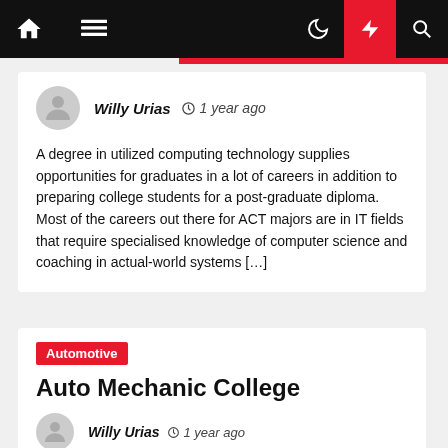Navigation bar with home, menu, moon, flash, and search icons
Willy Urias  1 year ago
A degree in utilized computing technology supplies opportunities for graduates in a lot of careers in addition to preparing college students for a post-graduate diploma. Most of the careers out there for ACT majors are in IT fields that require specialised knowledge of computer science and coaching in actual-world systems […]
Automotive
Auto Mechanic College
Willy Urias  1 year ago